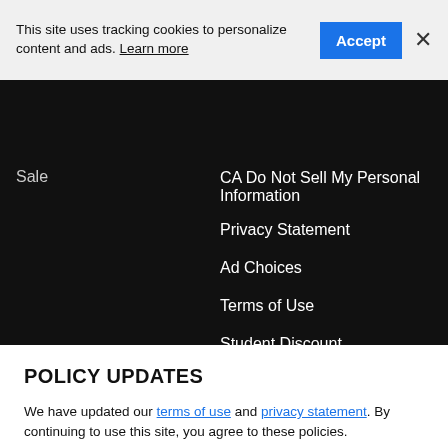This site uses tracking cookies to personalize content and ads. Learn more
Sale
CA Do Not Sell My Personal Information
Privacy Statement
Ad Choices
Terms of Use
Student Discount
POLICY UPDATES
We have updated our terms of use and privacy statement. By continuing to use this site, you agree to these policies.
I AGREE